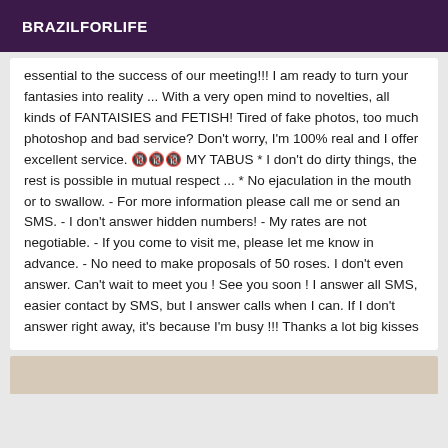BRAZILFORLIFE
essential to the success of our meeting!!! I am ready to turn your fantasies into reality ... With a very open mind to novelties, all kinds of FANTAISIES and FETISH! Tired of fake photos, too much photoshop and bad service? Don't worry, I'm 100% real and I offer excellent service. 🔞 MY TABUS * I don't do dirty things, the rest is possible in mutual respect ... * No ejaculation in the mouth or to swallow. - For more information please call me or send an SMS. - I don't answer hidden numbers! - My rates are not negotiable. - If you come to visit me, please let me know in advance. - No need to make proposals of 50 roses. I don't even answer. Can't wait to meet you ! See you soon ! I answer all SMS, easier contact by SMS, but I answer calls when I can. If I don't answer right away, it's because I'm busy !!! Thanks a lot big kisses